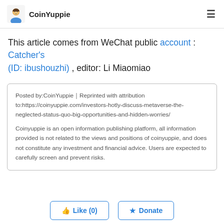CoinYuppie
This article comes from WeChat public account : Catcher's (ID: ibushouzhi) , editor: Li Miaomiao
Posted by:CoinYuppie｜Reprinted with attribution to:https://coinyuppie.com/investors-hotly-discuss-metaverse-the-neglected-status-quo-big-opportunities-and-hidden-worries/
Coinyuppie is an open information publishing platform, all information provided is not related to the views and positions of coinyuppie, and does not constitute any investment and financial advice. Users are expected to carefully screen and prevent risks.
Like (0)   Donate